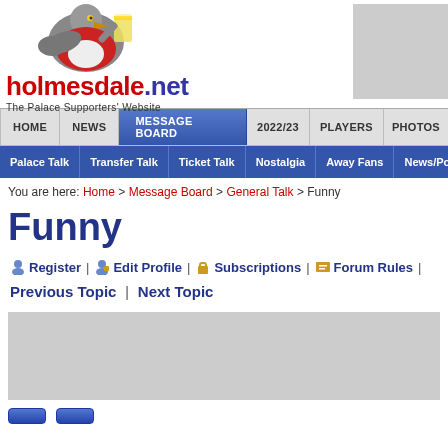[Figure (logo): Holmesdale.net logo with eagle mascot holding a beer glass. Red and blue text reading holmesdale.net with tagline The Palace Supporters' Website]
[Figure (other): Gray advertisement box, top right]
HOME | NEWS | MESSAGE BOARD | 2022/23 | PLAYERS | PHOTOS
Palace Talk | Transfer Talk | Ticket Talk | Nostalgia | Away Fans | News/Politics
You are here: Home > Message Board > General Talk > Funny
Funny
Register | Edit Profile | Subscriptions | Forum Rules |
Previous Topic | Next Topic
[Figure (other): Gray advertisement box, bottom center]
[Figure (other): Blue buttons at bottom]